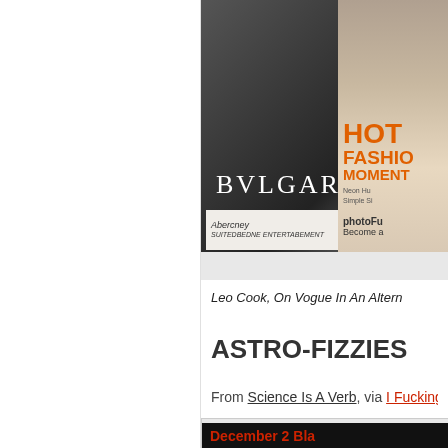[Figure (photo): Photo of a person wearing a BVLGARI item, partially overlapping with a magazine page showing 'HOT FASHION MOMENTS' text in orange. The image is cropped and shows a magazine spread.]
Leo Cook, On Vogue In An Altern
ASTRO-FIZZIES
From Science Is A Verb, via I Fucking Lo
[Figure (photo): Bottom portion of a second image showing dark background with red text beginning 'December 2 Bla...']